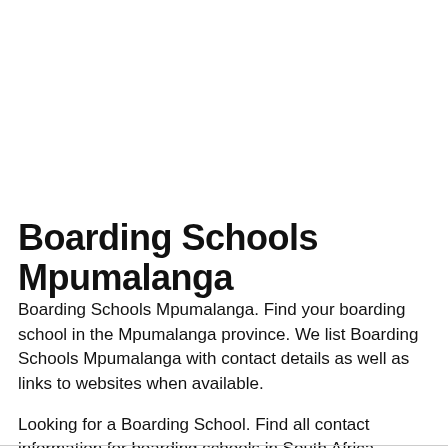Boarding Schools Mpumalanga
Boarding Schools Mpumalanga. Find your boarding school in the Mpumalanga province. We list Boarding Schools Mpumalanga with contact details as well as links to websites when available.
Looking for a Boarding School. Find all contact information for boarding schools in South Africa.